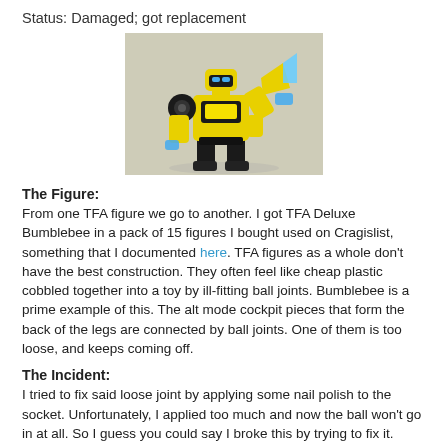Status: Damaged; got replacement
[Figure (photo): A yellow and black Transformers Animated (TFA) Deluxe Bumblebee action figure in robot mode, posing with one arm raised. The figure has blue accent pieces and a black face mask.]
The Figure:
From one TFA figure we go to another. I got TFA Deluxe Bumblebee in a pack of 15 figures I bought used on Cragislist, something that I documented here. TFA figures as a whole don't have the best construction. They often feel like cheap plastic cobbled together into a toy by ill-fitting ball joints. Bumblebee is a prime example of this. The alt mode cockpit pieces that form the back of the legs are connected by ball joints. One of them is too loose, and keeps coming off.
The Incident:
I tried to fix said loose joint by applying some nail polish to the socket. Unfortunately, I applied too much and now the ball won't go in at all. So I guess you could say I broke this by trying to fix it.